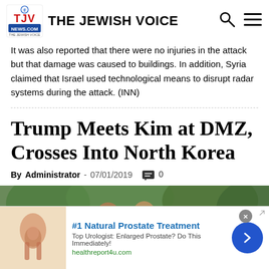THE JEWISH VOICE
It was also reported that there were no injuries in the attack but that damage was caused to buildings. In addition, Syria claimed that Israel used technological means to disrupt radar systems during the attack. (INN)
Trump Meets Kim at DMZ, Crosses Into North Korea
By Administrator - 07/01/2019  0
[Figure (photo): Photo of Trump meeting Kim at the DMZ]
[Figure (infographic): Advertisement: #1 Natural Prostate Treatment - Top Urologist: Enlarged Prostate? Do This Immediately! healthreport4u.com]